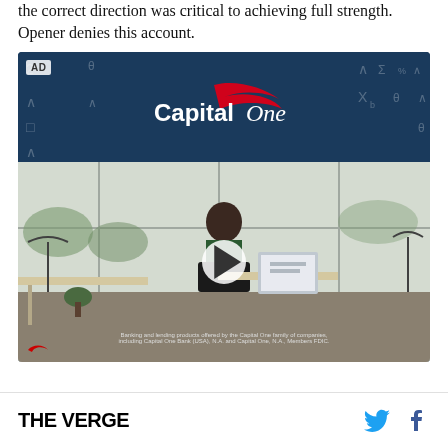the correct direction was critical to achieving full strength. Opener denies this account.
[Figure (screenshot): Capital One advertisement. Dark blue banner with Capital One logo at top, below is a video still showing a woman sitting at a desk in a modern office with large windows, with a play button overlay. Small 'AD' badge in top-left corner. Disclaimer text at bottom.]
THE VERGE